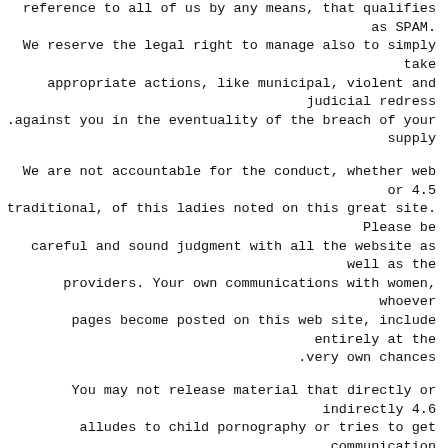reference to all of us by any means, that qualifies as SPAM. We reserve the legal right to manage also to simply take appropriate actions, like municipal, violent and judicial redress against you in the eventuality of the breach of your supply.
4.5 We are not accountable for the conduct, whether web or traditional, of this ladies noted on this great site. Please be careful and sound judgment with all the website as well as the providers. Your own communications with women, whoever pages become posted on this web site, include entirely at the very own chances.
4.6 You may not release material that directly or indirectly alludes to child pornography or tries to get communication with or for anyone underneath the period of 18.
4.7 Pornography and Obscenity: We do not let picture or videos content that contains nudity, sexually artwork information.